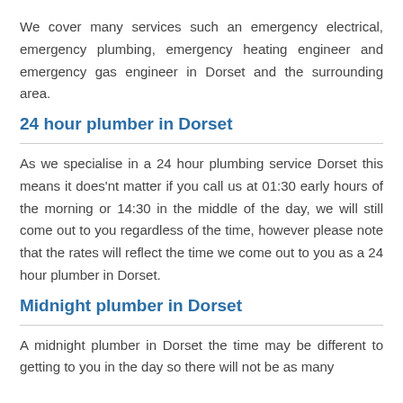We cover many services such an emergency electrical, emergency plumbing, emergency heating engineer and emergency gas engineer in Dorset and the surrounding area.
24 hour plumber in Dorset
As we specialise in a 24 hour plumbing service Dorset this means it does'nt matter if you call us at 01:30 early hours of the morning or 14:30 in the middle of the day, we will still come out to you regardless of the time, however please note that the rates will reflect the time we come out to you as a 24 hour plumber in Dorset.
Midnight plumber in Dorset
A midnight plumber in Dorset the time may be different to getting to you in the day so there will not be as many...